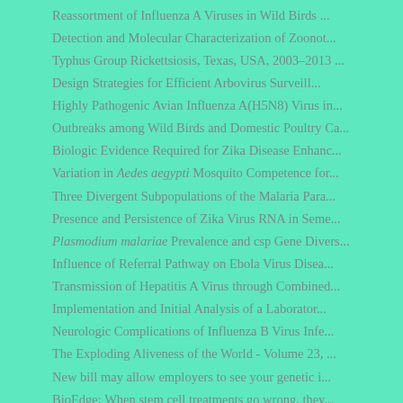Reassortment of Influenza A Viruses in Wild Birds ...
Detection and Molecular Characterization of Zoonot...
Typhus Group Rickettsiosis, Texas, USA, 2003–2013 ...
Design Strategies for Efficient Arbovirus Surveill...
Highly Pathogenic Avian Influenza A(H5N8) Virus in...
Outbreaks among Wild Birds and Domestic Poultry Ca...
Biologic Evidence Required for Zika Disease Enhanc...
Variation in Aedes aegypti Mosquito Competence for...
Three Divergent Subpopulations of the Malaria Para...
Presence and Persistence of Zika Virus RNA in Seme...
Plasmodium malariae Prevalence and csp Gene Divers...
Influence of Referral Pathway on Ebola Virus Disea...
Transmission of Hepatitis A Virus through Combined...
Implementation and Initial Analysis of a Laborator...
Neurologic Complications of Influenza B Virus Infe...
The Exploding Aliveness of the World - Volume 23, ...
New bill may allow employers to see your genetic i...
BioEdge: When stem cell treatments go wrong, they...